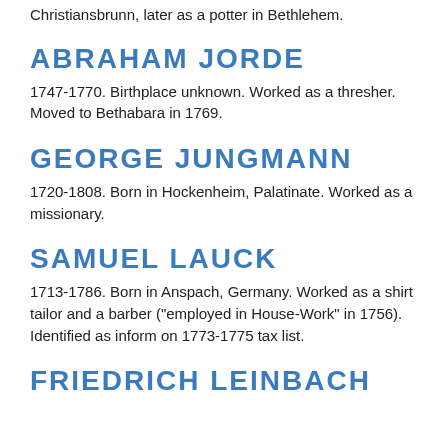Christiansbrunn, later as a potter in Bethlehem.
ABRAHAM JORDE
1747-1770. Birthplace unknown. Worked as a thresher. Moved to Bethabara in 1769.
GEORGE JUNGMANN
1720-1808. Born in Hockenheim, Palatinate. Worked as a missionary.
SAMUEL LAUCK
1713-1786. Born in Anspach, Germany. Worked as a shirt tailor and a barber ("employed in House-Work" in 1756). Identified as inform on 1773-1775 tax list.
FRIEDRICH LEINBACH